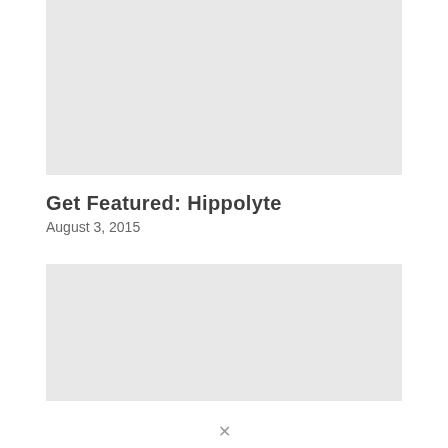[Figure (photo): Top image placeholder — light gray rectangle]
Get Featured: Hippolyte
August 3, 2015
[Figure (photo): Bottom image placeholder — light gray rectangle]